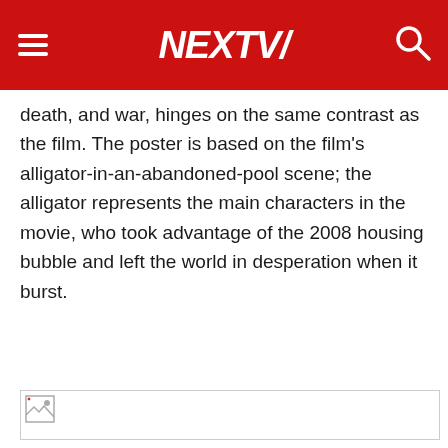NEXTV
death, and war, hinges on the same contrast as the film. The poster is based on the film's alligator-in-an-abandoned-pool scene; the alligator represents the main characters in the movie, who took advantage of the 2008 housing bubble and left the world in desperation when it burst.
[Figure (photo): Broken image placeholder]